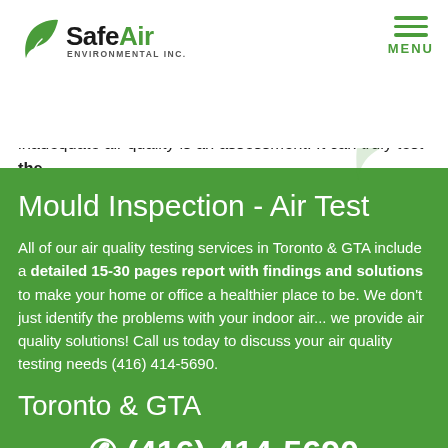[Figure (logo): SafeAir Environmental Inc. logo with green leaf icon]
[Figure (other): Hamburger menu icon with MENU label in green]
inadequate air quality is an assessment. It can truly test the
Mould Inspection - Air Test
All of our air quality testing services in Toronto & GTA include a detailed 15-30 pages report with findings and solutions to make your home or office a healthier place to be. We don't just identify the problems with your indoor air... we provide air quality solutions! Call us today to discuss your air quality testing needs (416) 414-5690.
Toronto & GTA
(416) 414-5690